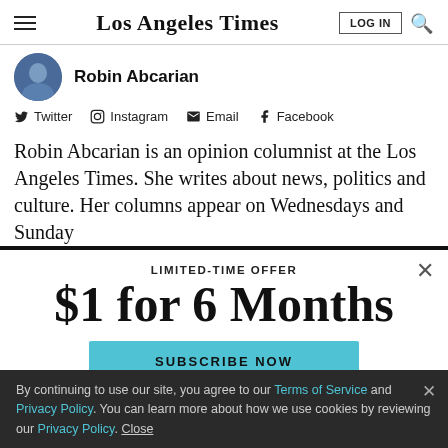Los Angeles Times
Robin Abcarian
Twitter  Instagram  Email  Facebook
Robin Abcarian is an opinion columnist at the Los Angeles Times. She writes about news, politics and culture. Her columns appear on Wednesdays and Sundays.
LIMITED-TIME OFFER
$1 for 6 Months
SUBSCRIBE NOW
By continuing to use our site, you agree to our Terms of Service and Privacy Policy. You can learn more about how we use cookies by reviewing our Privacy Policy. Close